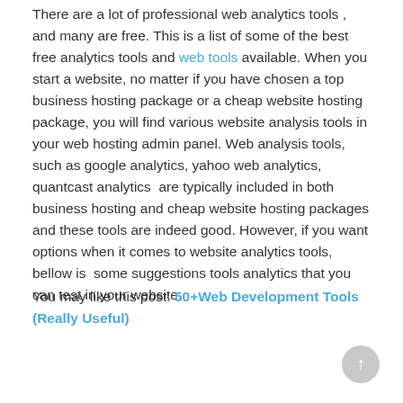There are a lot of professional web analytics tools , and many are free. This is a list of some of the best free analytics tools and web tools available. When you start a website, no matter if you have chosen a top business hosting package or a cheap website hosting package, you will find various website analysis tools in your web hosting admin panel. Web analysis tools, such as google analytics, yahoo web analytics, quantcast analytics  are typically included in both business hosting and cheap website hosting packages and these tools are indeed good. However, if you want options when it comes to website analytics tools, bellow is  some suggestions tools analytics that you can test in your website.
You may like this post: 50+Web Development Tools (Really Useful)